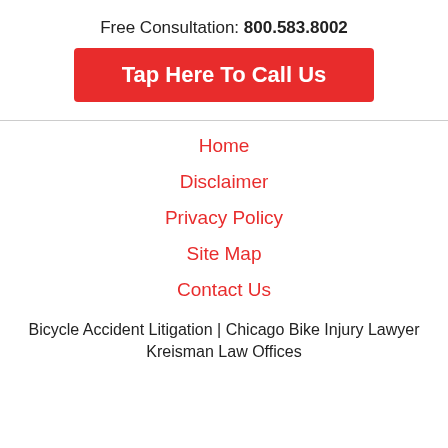Free Consultation: 800.583.8002
[Figure (other): Red button labeled 'Tap Here To Call Us']
Home
Disclaimer
Privacy Policy
Site Map
Contact Us
Bicycle Accident Litigation | Chicago Bike Injury Lawyer Kreisman Law Offices